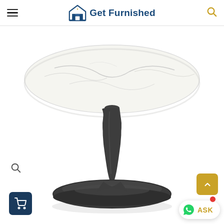Get Furnished
[Figure (photo): A round pedestal dining table with a white marble-look tabletop and a dark matte black tulip-style base, photographed on a white background.]
[Figure (logo): Get Furnished logo with house icon and text 'Get Furnished' in dark blue]